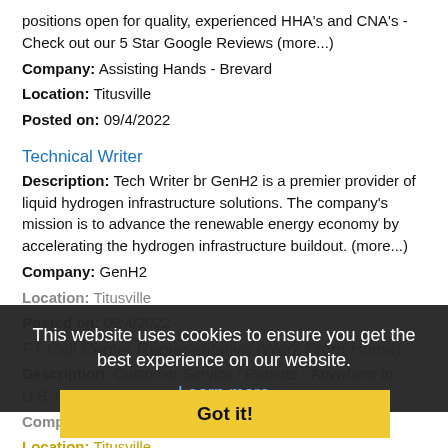positions open for quality, experienced HHA's and CNA's - Check out our 5 Star Google Reviews (more...)
Company: Assisting Hands - Brevard
Location: Titusville
Posted on: 09/4/2022
Technical Writer
Description: Tech Writer br GenH2 is a premier provider of liquid hydrogen infrastructure solutions. The company's mission is to advance the renewable energy economy by accelerating the hydrogen infrastructure buildout. (more...)
Company: GenH2
Location: Titusville
Posted on: 09/4/2022
FT Call Center Representative (Work From Home)
Description: Customer Service / Remote - Anywhere in U.S. / Competitive Pay / Me...vision, life, disability,
Company: NationsBenefits
Location: Titusville
Posted on: 09/4/2022
CNA - Certified Nursing Assistant
Description: Vista Manor1550 Jess Parrish Court Titusville -
This website uses cookies to ensure you get the best experience on our website.
Learn more
Got it!